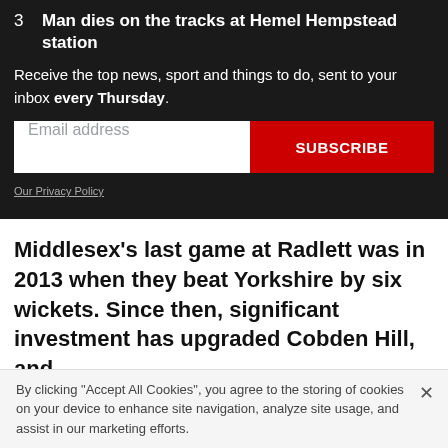3   Man dies on the tracks at Hemel Hempstead station
Receive the top news, sport and things to do, sent to your inbox every Thursday.
Email address  SUBSCRIBE
Our Privacy Policy
Middlesex’s last game at Radlett was in 2013 when they beat Yorkshire by six wickets. Since then, significant investment has upgraded Cobden Hill, and
By clicking “Accept All Cookies”, you agree to the storing of cookies on your device to enhance site navigation, analyze site usage, and assist in our marketing efforts.